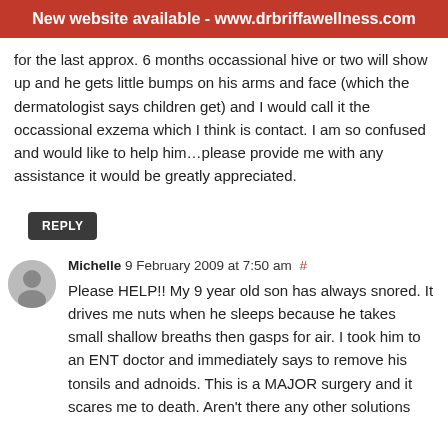New website available - www.drbriffawellness.com
for the last approx. 6 months occassional hive or two will show up and he gets little bumps on his arms and face (which the dermatologist says children get) and I would call it the occassional exzema which I think is contact. I am so confused and would like to help him…please provide me with any assistance it would be greatly appreciated.
REPLY
Michelle 9 February 2009 at 7:50 am #
Please HELP!! My 9 year old son has always snored. It drives me nuts when he sleeps because he takes small shallow breaths then gasps for air. I took him to an ENT doctor and immediately says to remove his tonsils and adnoids. This is a MAJOR surgery and it scares me to death. Aren't there any other solutions